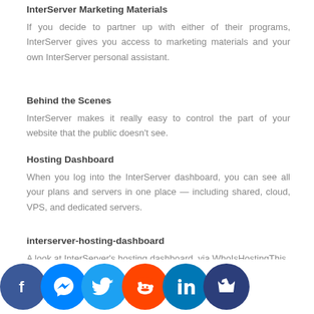InterServer Marketing Materials
If you decide to partner up with either of their programs, InterServer gives you access to marketing materials and your own InterServer personal assistant.
Behind the Scenes
InterServer makes it really easy to control the part of your website that the public doesn't see.
Hosting Dashboard
When you log into the InterServer dashboard, you can see all your plans and servers in one place — including shared, cloud, VPS, and dedicated servers.
interserver-hosting-dashboard
A look at InterServer's hosting dashboard, via WhoIsHostingThis
[Figure (infographic): Social sharing icons bar at bottom: Facebook (blue), Messenger (blue), Twitter (cyan), Reddit (orange), LinkedIn (blue), Crown/bookmark (dark blue)]